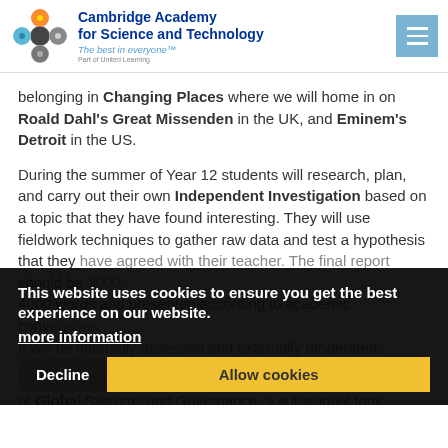Cambridge Academy for Science and Technology — The best in everyone™ — Part of United Learning
belonging in Changing Places where we will home in on Roald Dahl's Great Missenden in the UK, and Eminem's Detroit in the US.
During the summer of Year 12 students will research, plan, and carry out their own Independent Investigation based on a topic that they have found interesting. They will use fieldwork techniques to gather raw data and test a hypothesis that they have agreed with their teacher. The final report should be 3000-4000 words and presented according to academic conventions. It will be internally assessed and externally moderated.
In the autumn term of Year 13, we begin another core topic of Global Systems and Governance, a substantial topic covering topics such as International Trade, Global Food Systems and protecting the Global Commons where we
This website uses cookies to ensure you get the best experience on our website. more information
Decline   Allow cookies